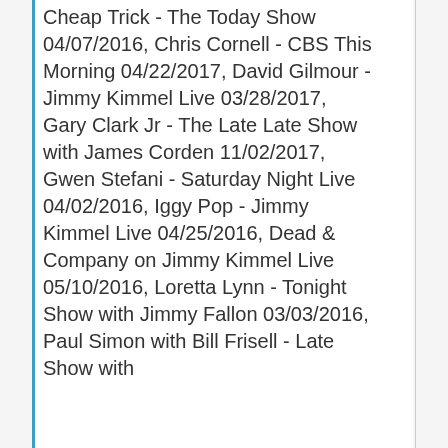Cheap Trick - The Today Show 04/07/2016, Chris Cornell - CBS This Morning 04/22/2017, David Gilmour - Jimmy Kimmel Live 03/28/2017, Gary Clark Jr - The Late Late Show with James Corden 11/02/2017, Gwen Stefani - Saturday Night Live 04/02/2016, Iggy Pop - Jimmy Kimmel Live 04/25/2016, Dead & Company on Jimmy Kimmel Live 05/10/2016, Loretta Lynn - Tonight Show with Jimmy Fallon 03/03/2016, Paul Simon with Bill Frisell - Late Show with